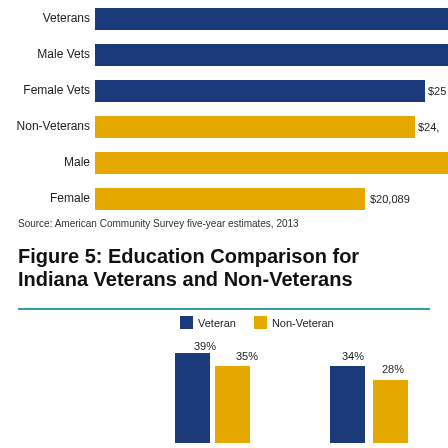[Figure (bar-chart): Income Comparison (partial/cropped top)]
Source: American Community Survey five-year estimates, 2013
Figure 5: Education Comparison for Indiana Veterans and Non-Veterans
[Figure (grouped-bar-chart): Figure 5: Education Comparison for Indiana Veterans and Non-Veterans]